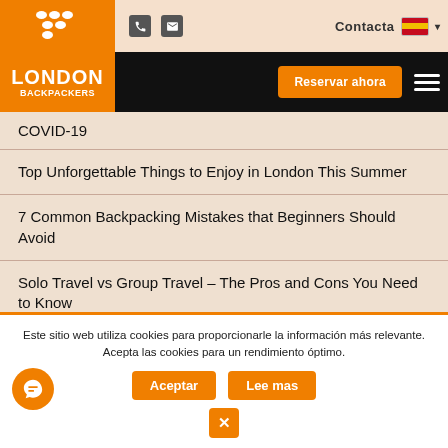[Figure (logo): London Backpackers logo with orange background, white dots pattern and text]
Contacta
COVID-19
Top Unforgettable Things to Enjoy in London This Summer
7 Common Backpacking Mistakes that Beginners Should Avoid
Solo Travel vs Group Travel – The Pros and Cons You Need to Know
Este sitio web utiliza cookies para proporcionarle la información más relevante. Acepta las cookies para un rendimiento óptimo.
Aceptar
Lee mas